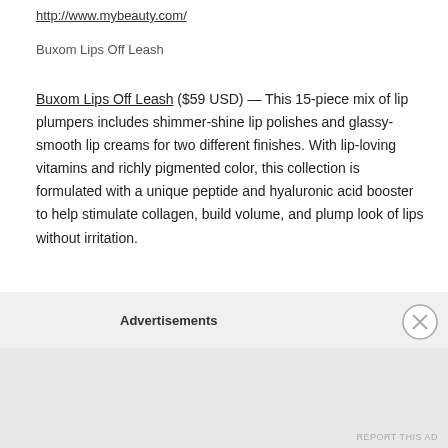Available at http://www.mybeauty.com/
Buxom Lips Off Leash
Buxom Lips Off Leash ($59 USD) — This 15-piece mix of lip plumpers includes shimmer-shine lip polishes and glassy-smooth lip creams for two different finishes. With lip-loving vitamins and richly pigmented color, this collection is formulated with a unique peptide and hyaluronic acid booster to help stimulate collagen, build volume, and plump look of lips without irritation.
This set contains:
– 7 x 0.07 oz/ 2 mL Lip Polish in Brooke, Clair, Sophia, Jasmine, Stacy, Jill, Kayla
Advertisements